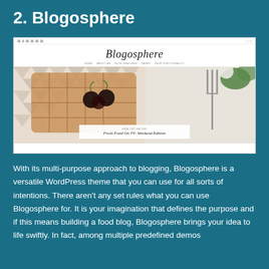2. Blogosphere
[Figure (screenshot): Screenshot of the Blogosphere WordPress theme homepage showing a cursive logo, navigation menu with HOME, ABOUT ME, BLOG FEATURES, PAGES, SHOP FUNCTIONALITY links, and a hero image of waffles with cherries on a plate with a fork. Caption overlay reads 'HEALTHY EATING / Fresh Food On TV: Weekend Edition']
With its multi-purpose approach to blogging, Blogosphere is a versatile WordPress theme that you can use for all sorts of intentions. There aren't any set rules what you can use Blogosphere for. It is your imagination that defines the purpose and if this means building a food blog, Blogosphere brings your idea to life swiftly. In fact, among multiple predefined demos